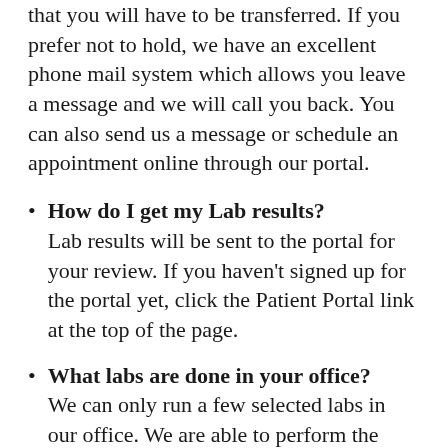that you will have to be transferred. If you prefer not to hold, we have an excellent phone mail system which allows you leave a message and we will call you back. You can also send us a message or schedule an appointment online through our portal.
How do I get my Lab results? Lab results will be sent to the portal for your review. If you haven't signed up for the portal yet, click the Patient Portal link at the top of the page.
What labs are done in your office? We can only run a few selected labs in our office. We are able to perform the following labs in our office: rapid strep test, flu test, urinalysis,lipid panel and complete blood count. Your doctor